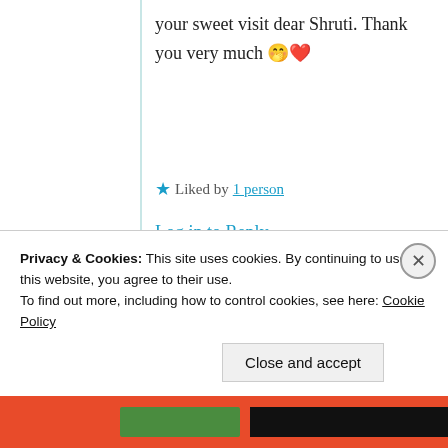your sweet visit dear Shruti. Thank you very much 🤭❤️
★ Liked by 1 person
Log in to Reply
[Figure (photo): Circular avatar photo of Shruthi Senthilkumar with stylized S letter]
Shruthi Senthilkumar
25th Aug 2021 at
Privacy & Cookies: This site uses cookies. By continuing to use this website, you agree to their use.
To find out more, including how to control cookies, see here: Cookie Policy
Close and accept